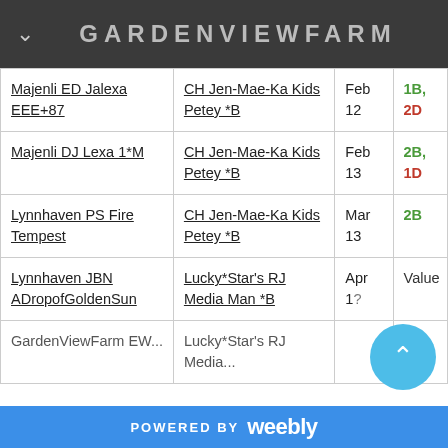GARDENVIEWFARM
| Name | Sire | Date | Result |
| --- | --- | --- | --- |
| Majenli ED Jalexa EEE+87 | CH Jen-Mae-Ka Kids Petey *B | Feb 12 | 1B, 2D |
| Majenli DJ Lexa 1*M | CH Jen-Mae-Ka Kids Petey *B | Feb 13 | 2B, 1D |
| Lynnhaven PS Fire Tempest | CH Jen-Mae-Ka Kids Petey *B | Mar 13 | 2B |
| Lynnhaven JBN ADropofGoldenSun | Lucky*Star's RJ Media Man *B | Apr 1? | Value |
| GardenViewFarm EW... | Lucky*Star's RJ Media... |  |  |
POWERED BY weebly